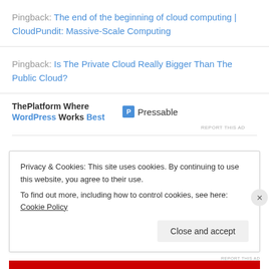Pingback: The end of the beginning of cloud computing | CloudPundit: Massive-Scale Computing
Pingback: Is The Private Cloud Really Bigger Than The Public Cloud?
[Figure (infographic): Ad banner: ThePlatform Where WordPress Works Best - Pressable]
Privacy & Cookies: This site uses cookies. By continuing to use this website, you agree to their use. To find out more, including how to control cookies, see here: Cookie Policy